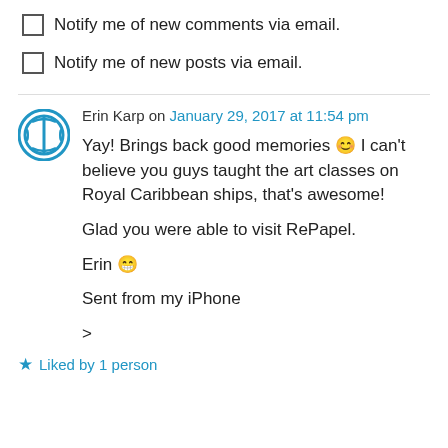Notify me of new comments via email.
Notify me of new posts via email.
Erin Karp on January 29, 2017 at 11:54 pm
Yay! Brings back good memories 😊 I can't believe you guys taught the art classes on Royal Caribbean ships, that's awesome!

Glad you were able to visit RePapel.

Erin 😁

Sent from my iPhone

>
★ Liked by 1 person